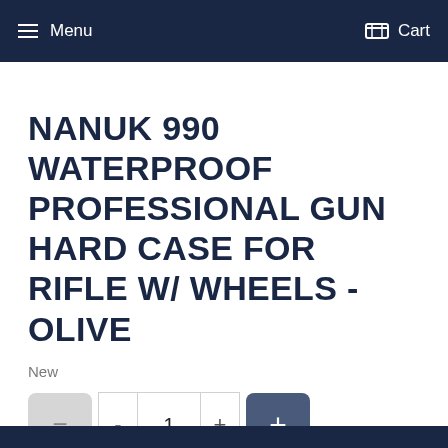Menu  Cart
NANUK 990 WATERPROOF PROFESSIONAL GUN HARD CASE FOR RIFLE W/ WHEELS - OLIVE
New
- 1 +